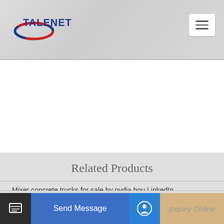[Figure (logo): Talenet logo with blue text TALENET and red/blue ellipse graphic]
Related Products
Mixer concrete trucks for sale by nydia hou LinkedIn
Sinotruk Durable 6X4 10cbm Concrete Mixing Plant
Inland Concrete Pump Hire Concrete Pumping Birmingham
Send Message
Inquiry Online